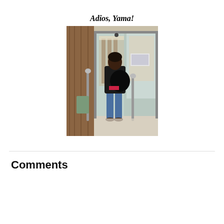Adios, Yama!
[Figure (photo): A person seen from behind, wearing a black jacket and blue jeans, carrying a large black bag, walking through automatic glass doors into what appears to be a library or public building interior.]
Comments